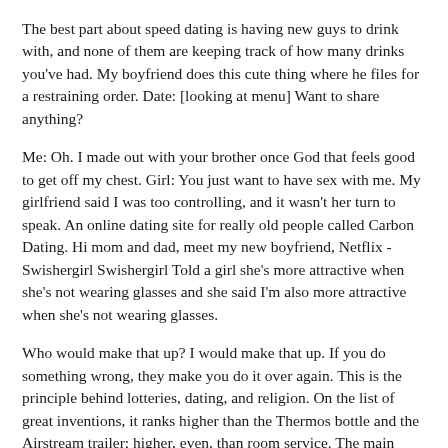The best part about speed dating is having new guys to drink with, and none of them are keeping track of how many drinks you've had. My boyfriend does this cute thing where he files for a restraining order. Date: [looking at menu] Want to share anything?
Me: Oh. I made out with your brother once God that feels good to get off my chest. Girl: You just want to have sex with me. My girlfriend said I was too controlling, and it wasn't her turn to speak. An online dating site for really old people called Carbon Dating. Hi mom and dad, meet my new boyfriend, Netflix - Swishergirl Swishergirl Told a girl she's more attractive when she's not wearing glasses and she said I'm also more attractive when she's not wearing glasses.
Who would make that up? I would make that up. If you do something wrong, they make you do it over again. This is the principle behind lotteries, dating, and religion. On the list of great inventions, it ranks higher than the Thermos bottle and the Airstream trailer; higher, even, than room service. The main lesson I took from Lady and the Tramp is that dating below your station might result in someone who can get you free spaghetti. One day, some guy is gonna see me eating a whole rotisserie chicken with my bare hands in my parked car and think "That's her, she's the one.